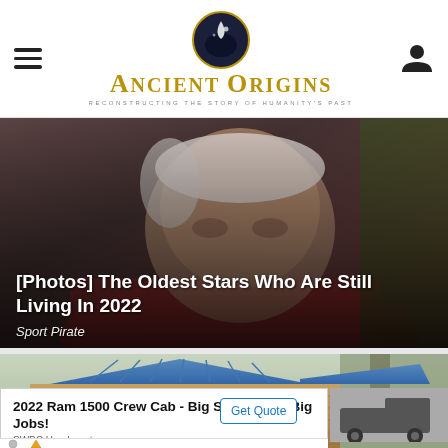Ancient Origins — Reconstructing the story of humanity's past
[Figure (photo): Close-up photo of an elderly man with white hair wearing a dark red shirt, used as background for article card]
[Photos] The Oldest Stars Who Are Still Living In 2022
Sport Pirate
[Figure (photo): Photo of a small modern cabin/tiny house with blue metal roof panels and cedar wood siding, surrounded by trees]
2022 Ram 1500 Crew Cab - Big Savings for Big Jobs!
SWBC Headquarters
Get Quote